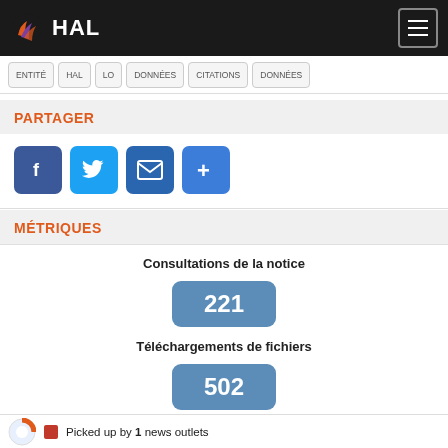HAL
PARTAGER
[Figure (illustration): Social sharing icons: Facebook, Twitter, Email, More (+)]
MÉTRIQUES
Consultations de la notice
221
Téléchargements de fichiers
502
Picked up by 1 news outlets